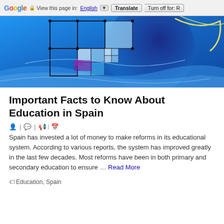Google | View this page in: English | Translate | Turn off for: R
[Figure (illustration): Abstract blue digital art with geometric grid squares and swirling curves on a blue background]
Important Facts to Know About Education in Spain
🧑 | 💬 | 🗨️| 📅
Spain has invested a lot of money to make reforms in its educational system. According to various reports, the system has improved greatly in the last few decades. Most reforms have been in both primary and secondary education to ensure … Read More
🏷️Education, Spain